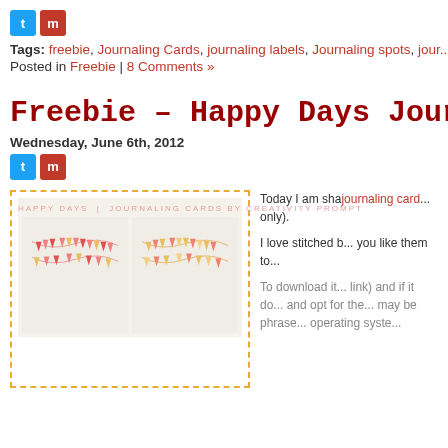[Figure (screenshot): Social sharing icons - Twitter (blue) and Mix (red)]
Tags: freebie, Journaling Cards, journaling labels, Journaling spots, jour...
Posted in Freebie | 8 Comments »
Freebie – Happy Days Journaling Ca...
Wednesday, June 6th, 2012
[Figure (screenshot): Social sharing icons - Twitter (blue) and Mix (red)]
[Figure (illustration): Happy Days Journaling Cards preview image showing two cards with bunting/pennant flag decorations]
Today I am sha... journaling card... only).
I love stitched b... you like them to...
To download it... link) and if it do... and opt for the... may be phrase... operating syste...